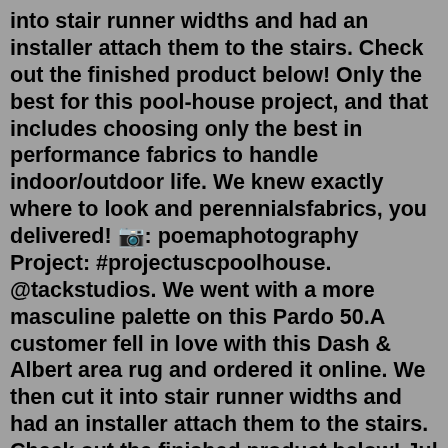into stair runner widths and had an installer attach them to the stairs. Check out the finished product below! Only the best for this pool-house project, and that includes choosing only the best in performance fabrics to handle indoor/outdoor life. We knew exactly where to look and perennialsfabrics, you delivered! 📷: poemaphotography Project: #projectuscpoolhouse. @tackstudios. We went with a more masculine palette on this Pardo 50.A customer fell in love with this Dash & Albert area rug and ordered it online. We then cut it into stair runner widths and had an installer attach them to the stairs. Check out the finished product below! Jul 11, 2018 · Dash and Albert. Dash and Albert have the goods when it comes to stair runners. The pattern in this with the rich blue door, all the heart eyes! Russdales. The restraint shown here creates a perfect combination of texture, pattern and colour. RiteRug. The colour on this runner balances the warmth in the timber floor, and reflects the tone of ... Nov 27, 2017 · I set over the years the first steps from Stair Update